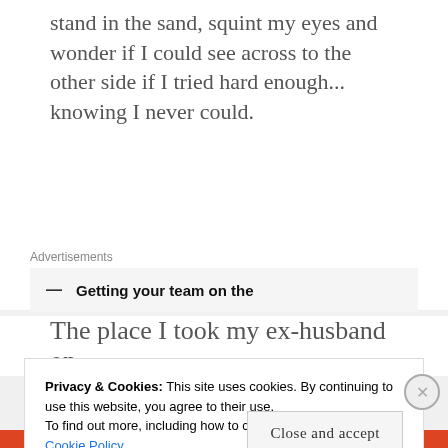stand in the sand, squint my eyes and wonder if I could see across to the other side if I tried hard enough... knowing I never could.
Advertisements
[Figure (other): Advertisement banner with text 'Getting your team on the']
The place I took my ex-husband on
Privacy & Cookies: This site uses cookies. By continuing to use this website, you agree to their use.
To find out more, including how to control cookies, see here: Cookie Policy
Close and accept